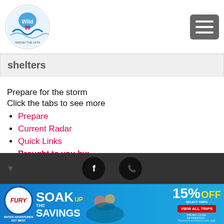[Figure (logo): Wild 99 radio station logo - circular logo with wave/water imagery]
shelters
Prepare for the storm
Click the tabs to see more
Prepare
Current Radar
Quick Links
Brought to you by:
[Figure (other): HANDY RANDIN, INC LICENSE – SP#4536 sponsor logo]
[Figure (logo): Charley Topping circular logo - orange and red]
[Figure (other): Social media icons - Facebook and phone/call icons on dark background]
[Figure (other): Fury Water Adventures Key West advertisement banner - SOAK UP THE SAVINGS 15% OFF SELECT TRIPS VIEW ALL TRIPS PROMO CODE: KEYWEST111]